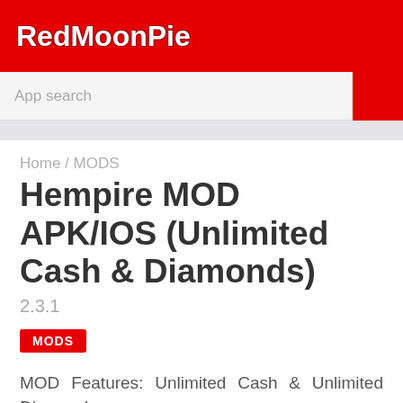RedMoonPie
App search
Home / MODS
Hempire MOD APK/IOS (Unlimited Cash & Diamonds)
2.3.1
MODS
MOD Features: Unlimited Cash & Unlimited Diamonds